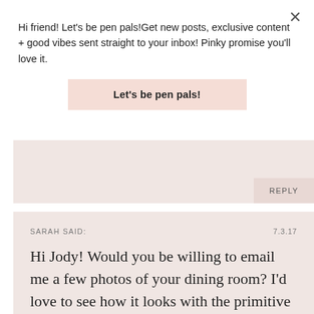Hi friend! Let's be pen pals!Get new posts, exclusive content + good vibes sent straight to your inbox! Pinky promise you'll love it.
Let's be pen pals!
REPLY
SARAH SAID:
7.3.17
Hi Jody! Would you be willing to email me a few photos of your dining room? I'd love to see how it looks with the primitive decor as I'm not really that familiar with that look. Maybe if I see